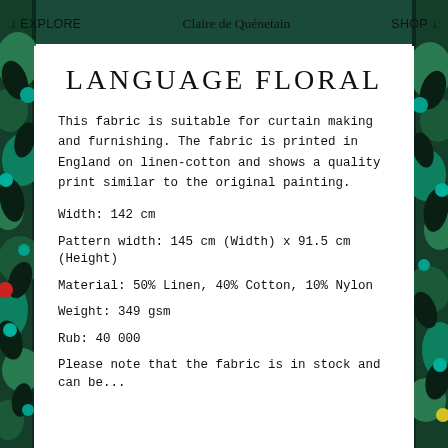↓ EXPLORE   Claire de Quénetain   SHOP ↓
LANGUAGE FLORAL
This fabric is suitable for curtain making and furnishing. The fabric is printed in England on linen-cotton and shows a quality print similar to the original painting.
Width: 142 cm
Pattern width: 145 cm (Width) x 91.5 cm (Height)
Material: 50% Linen, 40% Cotton, 10% Nylon
Weight: 349 gsm
Rub: 40 000
Please note that the fabric is in stock and can be...